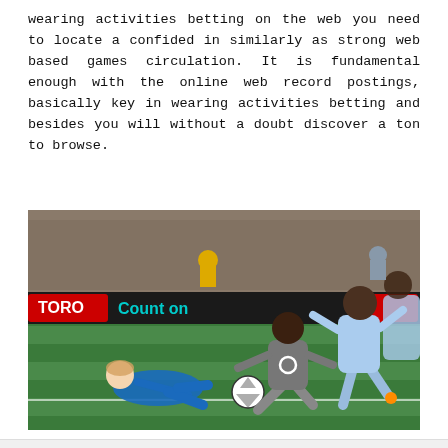wearing activities betting on the web you need to locate a confided in similarly as strong web based games circulation. It is fundamental enough with the online web record postings, basically key in wearing activities betting and besides you will without a doubt discover a ton to browse.
[Figure (photo): Soccer/football match action photo showing players on a grass field. A player in a gray jersey dribbles past defenders in light blue jerseys, while a goalkeeper in blue slides on the ground. An advertising board in the background reads 'TORO' and 'Count on' (partially visible).]